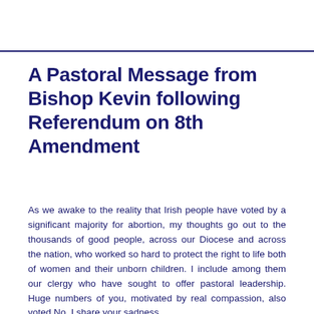A Pastoral Message from Bishop Kevin following Referendum on 8th Amendment
As we awake to the reality that Irish people have voted by a significant majority for abortion, my thoughts go out to the thousands of good people, across our Diocese and across the nation, who worked so hard to protect the right to life both of women and their unborn children. I include among them our clergy who have sought to offer pastoral leadership. Huge numbers of you, motivated by real compassion, also voted No. I share your sadness